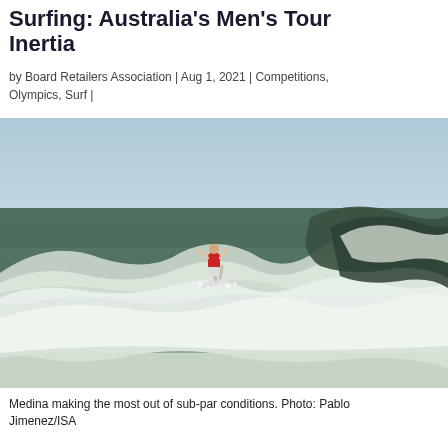Surfing: Australia's Men's Tour Inertia
by Board Retailers Association | Aug 1, 2021 | Competitions, Olympics, Surf |
[Figure (photo): A surfer in a red jersey performing an aerial maneuver above a breaking wave at the 2021 Tokyo Olympics surfing venue, photographed during overcast conditions with choppy seas.]
Medina making the most out of sub-par conditions. Photo: Pablo Jimenez/ISA